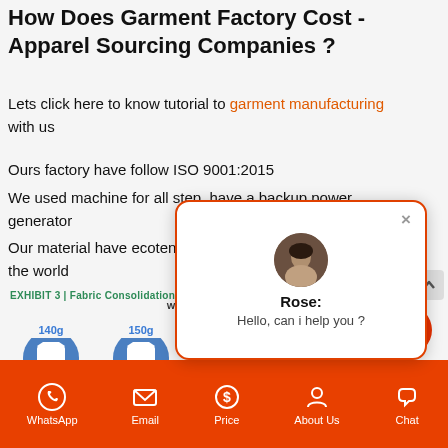How Does Garment Factory Cost - Apparel Sourcing Companies ?
Lets click here to know tutorial to garment manufacturing with us
Ours factory have follow ISO 9001:2015
We used machine for all step, have a backup power generator
Our material have ecote... n all the world
[Figure (infographic): EXHIBIT 3 | Fabric Consolidation Red... - Weight group consolidation table showing shirts at 140g, 150g, 160g weights with circular blue shirt icons]
[Figure (screenshot): Chat popup overlay with Rose avatar, greeting 'Hello, can i help you ?']
WhatsApp | Email | Price | About Us | Chat